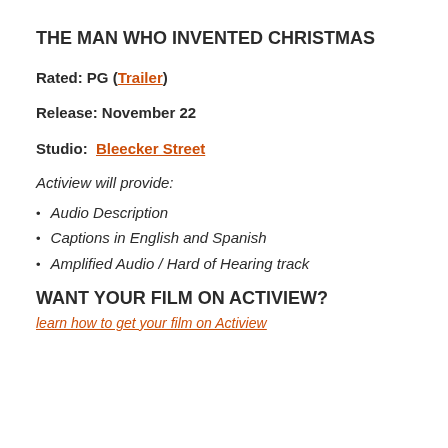THE MAN WHO INVENTED CHRISTMAS
Rated: PG (Trailer)
Release: November 22
Studio:  Bleecker Street
Actiview will provide:
Audio Description
Captions in English and Spanish
Amplified Audio / Hard of Hearing track
WANT YOUR FILM ON ACTIVIEW?